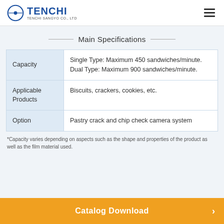TENCHI SANGYO CO., LTD
Main Specifications
|  |  |
| --- | --- |
| Capacity | Single Type: Maximum 450 sandwiches/minute. Dual Type: Maximum 900 sandwiches/minute. |
| Applicable Products | Biscuits, crackers, cookies, etc. |
| Option | Pastry crack and chip check camera system |
*Capacity varies depending on aspects such as the shape and properties of the product as well as the film material used.
Catalog Download